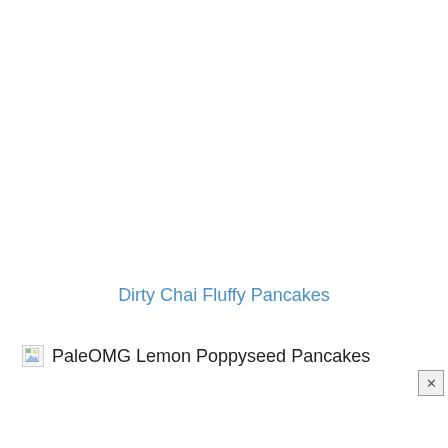Dirty Chai Fluffy Pancakes
[Figure (other): Broken image placeholder icon followed by text label 'PaleOMG Lemon Poppyseed Pancakes']
PaleOMG Lemon Poppyseed Pancakes